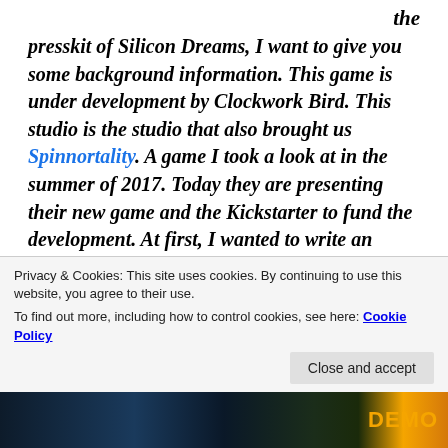the presskit of Silicon Dreams, I want to give you some background information. This game is under development by Clockwork Bird. This studio is the studio that also brought us Spinnortality. A game I took a look at in the summer of 2017. Today they are presenting their new game and the Kickstarter to fund the development. At first, I wanted to write an article about it but due to the lack of time, I was unable to get an article out before the end of the Kickstarter. That's why I'm publishing the press kit for now. But don't worry, you will get an article on this game later down the line since the idea behind the game interests me and I'm looking forward to telling you what I think about it. But in any case, without further ado, Here is the
Privacy & Cookies: This site uses cookies. By continuing to use this website, you agree to their use. To find out more, including how to control cookies, see here: Cookie Policy
[Figure (photo): Bottom strip showing Silicon Dreams game logo/banner with dark blue background and orange text reading 'DEMO']